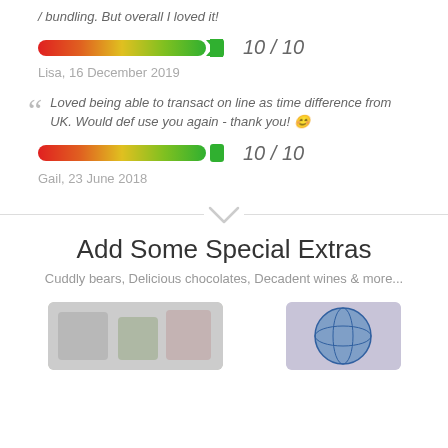/ bundling. But overall I loved it!
[Figure (infographic): Rating bar showing gradient from red to green with score 10 / 10]
Lisa, 16 December 2019
Loved being able to transact on line as time difference from UK. Would def use you again - thank you! 😊
[Figure (infographic): Rating bar showing gradient from red to green with score 10 / 10]
Gail, 23 June 2018
[Figure (other): Horizontal divider line with chevron/arrow pointing down in center]
Add Some Special Extras
Cuddly bears, Delicious chocolates, Decadent wines & more...
[Figure (photo): Two product photos at bottom of page — left shows chocolates/beverages, right shows a decorative globe/egg]